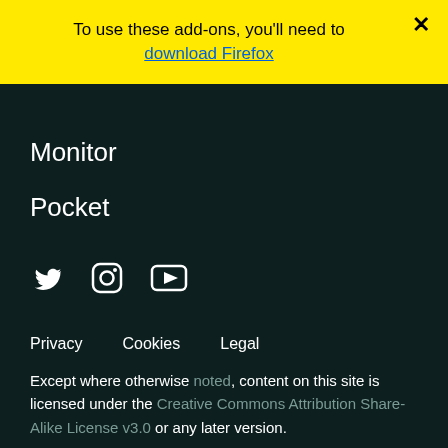To use these add-ons, you'll need to download Firefox
Monitor
Pocket
[Figure (infographic): Social media icons: Twitter (bird), Instagram (circle camera), YouTube (play button in rectangle)]
Privacy   Cookies   Legal
Except where otherwise noted, content on this site is licensed under the Creative Commons Attribution Share-Alike License v3.0 or any later version.
Change language   Euskara